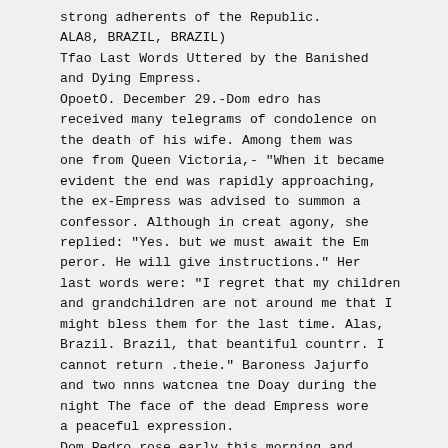strong adherents of the Republic.
ALA8, BRAZIL, BRAZIL)
Tfao Last Words Uttered by the Banished and Dying Empress.
OpoetO. December 29.-Dom edro has received many telegrams of condolence on the death of his wife. Among them was one from Queen Victoria,- "When it became evident the end was rapidly approaching, the ex-Empress was advised to summon a confessor. Although in creat agony, she replied: "Yes. but we must await the Em peror. He will give instructions." Her last words were: "I regret that my children and grandchildren are not around me that I might bless them for the last time. Alas, Brazil. Brazil, that beantiful countrr. I cannot return .theie." Baroness Jajurfo and two nnns watcnea tne Doay during the night The face of the dead Empress wore a peaceful expression.
Dom Pedro rose early this morning and attended mass. He was greatly dejected and so weak that his doctors were obliged to